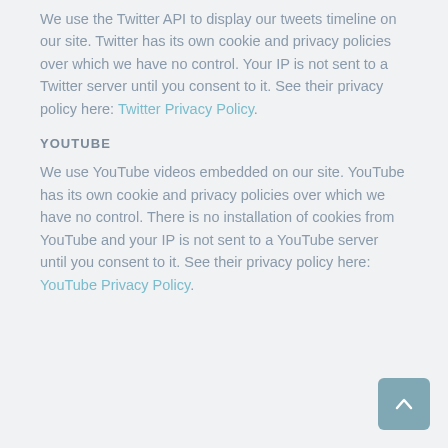We use the Twitter API to display our tweets timeline on our site. Twitter has its own cookie and privacy policies over which we have no control. Your IP is not sent to a Twitter server until you consent to it. See their privacy policy here: Twitter Privacy Policy.
YOUTUBE
We use YouTube videos embedded on our site. YouTube has its own cookie and privacy policies over which we have no control. There is no installation of cookies from YouTube and your IP is not sent to a YouTube server until you consent to it. See their privacy policy here: YouTube Privacy Policy.